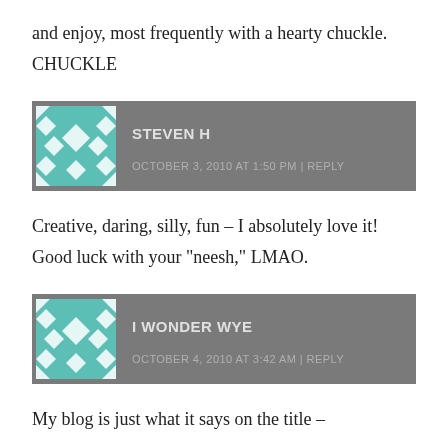and enjoy, most frequently with a hearty chuckle. CHUCKLE
STEVEN H
OCTOBER 3, 2010 AT 1:50 PM | REPLY
Creative, daring, silly, fun – I absolutely love it! Good luck with your "neesh," LMAO.
I WONDER WYE
OCTOBER 4, 2010 AT 3:42 AM | REPLY
My blog is just what it says on the title –